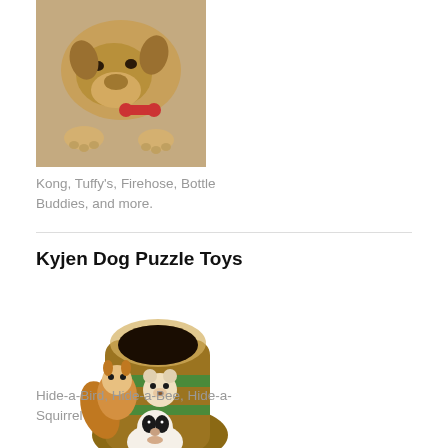[Figure (photo): Photo of a dog lying down, chewing on a toy, photographed from above on a textured brown carpet/rug background.]
Kong, Tuffy's, Firehose, Bottle Buddies, and more.
Kyjen Dog Puzzle Toys
[Figure (photo): Photo of a Kyjen Hide-a-Squirrel plush dog puzzle toy — a tree trunk with small squirrel, bear, and skunk plush animals peeking out from inside it.]
Hide-a-Bird, Hide-a-Bee, Hide-a-Squirrel